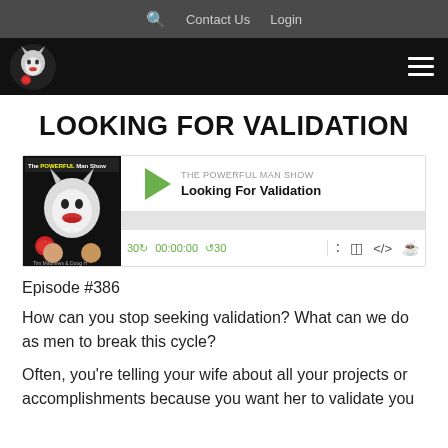🔍  Contact Us  Login
[Figure (logo): The Powerful Man Show wolf logo on black background with hamburger menu]
LOOKING FOR VALIDATION
[Figure (screenshot): Podcast player widget for The Powerful Man Show episode 'Looking For Validation' with play button, timer showing 00:00:00, skip 30s back and forward controls, and podcast icons]
Episode #386
How can you stop seeking validation? What can we do as men to break this cycle?
Often, you're telling your wife about all your projects or accomplishments because you want her to validate you